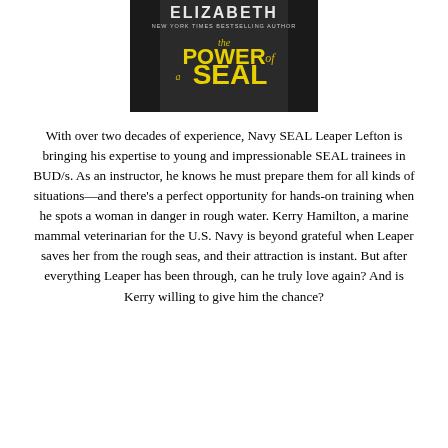[Figure (illustration): Book cover for 'The Power of a SEAL' by Elizabeth, New York Times Bestselling Author. Dark background with bold yellow text.]
With over two decades of experience, Navy SEAL Leaper Lefton is bringing his expertise to young and impressionable SEAL trainees in BUD/s. As an instructor, he knows he must prepare them for all kinds of situations—and there's a perfect opportunity for hands-on training when he spots a woman in danger in rough water. Kerry Hamilton, a marine mammal veterinarian for the U.S. Navy is beyond grateful when Leaper saves her from the rough seas, and their attraction is instant. But after everything Leaper has been through, can he truly love again? And is Kerry willing to give him the chance?